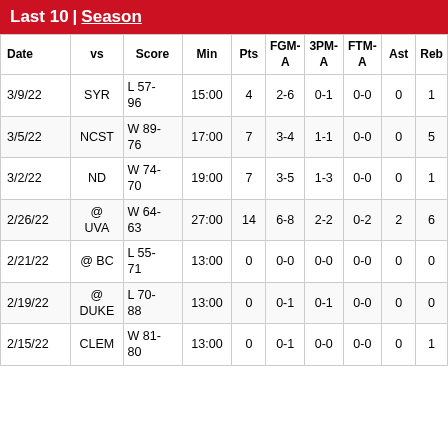Last 10 | Season
| Date | vs | Score | Min | Pts | FGM-A | 3PM-A | FTM-A | Ast | Reb |
| --- | --- | --- | --- | --- | --- | --- | --- | --- | --- |
| 3/9/22 | SYR | L 57-96 | 15:00 | 4 | 2-6 | 0-1 | 0-0 | 0 | 1 |
| 3/5/22 | NCST | W 89-76 | 17:00 | 7 | 3-4 | 1-1 | 0-0 | 0 | 5 |
| 3/2/22 | ND | W 74-70 | 19:00 | 7 | 3-5 | 1-3 | 0-0 | 0 | 1 |
| 2/26/22 | @ UVA | W 64-63 | 27:00 | 14 | 6-8 | 2-2 | 0-2 | 2 | 6 |
| 2/21/22 | @ BC | L 55-71 | 13:00 | 0 | 0-0 | 0-0 | 0-0 | 0 | 0 |
| 2/19/22 | @ DUKE | L 70-88 | 13:00 | 0 | 0-1 | 0-1 | 0-0 | 0 | 0 |
| 2/15/22 | CLEM | W 81-80 | 13:00 | 0 | 0-1 | 0-0 | 0-0 | 0 | 1 |